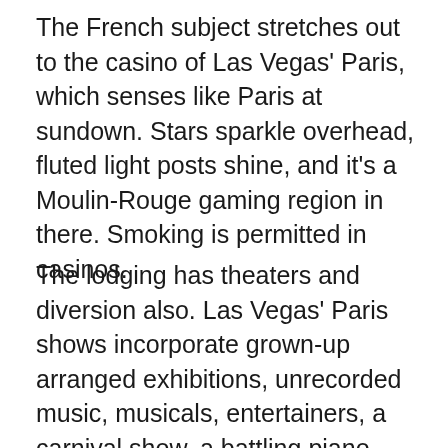The French subject stretches out to the casino of Las Vegas' Paris, which senses like Paris at sundown. Stars sparkle overhead, fluted light posts shine, and it's a Moulin-Rouge gaming region in there. Smoking is permitted in casinos.
The lodging has theaters and diversion also. Las Vegas' Paris shows incorporate grown-up arranged exhibitions, unrecorded music, musicals, entertainers, a carnival show, a battling piano bar, and a fire subject show. The attendant can aid vehicle rentals, show passes, and café reservations. Las Vegas' Paris vehicle parking choices incorporate self-and valet vehicle parking, both without any charge